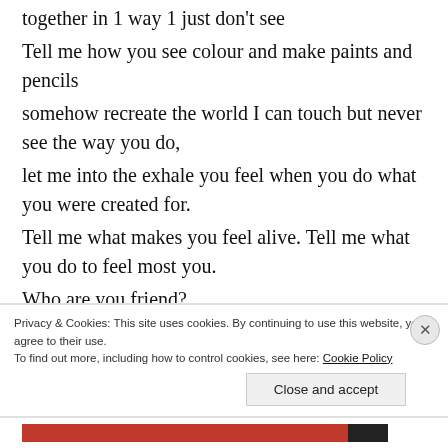together in 1 way 1 just don't see
Tell me how you see colour and make paints and pencils
somehow recreate the world I can touch but never see the way you do,
let me into the exhale you feel when you do what you were created for.
Tell me what makes you feel alive. Tell me what you do to feel most you.
Who are you friend?
What makes you tick?
Privacy & Cookies: This site uses cookies. By continuing to use this website, you agree to their use.
To find out more, including how to control cookies, see here: Cookie Policy